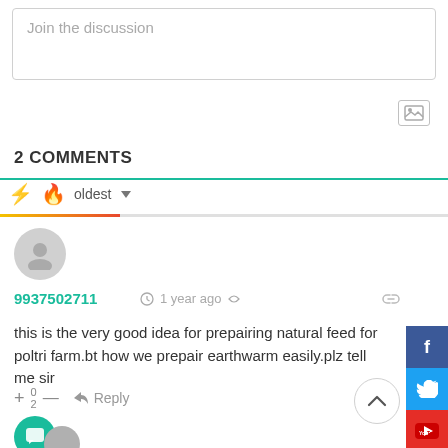Join the discussion
2 COMMENTS
oldest
[Figure (screenshot): User avatar (grey circle with person silhouette)]
9937502711  1 year ago
this is the very good idea for prepairing natural feed for poltri farm.bt how we prepair earthwarm easily.plz tell me sir
+ 0 — Reply
[Figure (screenshot): Social media sidebar with Facebook, Twitter, YouTube, LinkedIn icons]